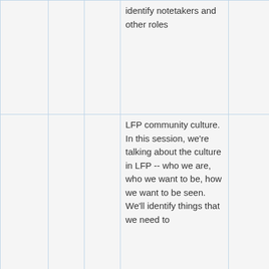|  |  |  | identify notetakers and other roles |  |
|  |  |  | LFP community culture. In this session, we're talking about the culture in LFP -- who we are, who we want to be, how we want to be seen. We'll identify things that we need to ... |  |